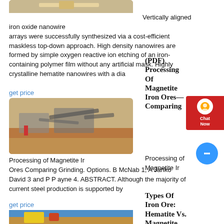[Figure (photo): Partial view of industrial mining equipment at top of page]
Vertically aligned iron oxide nanowire arrays were successfully synthesized via a cost-efficient maskless top-down approach. High density nanowires are formed by simple oxygen reactive ion etching of an iron-containing polymer film without any artificial mask. Highly crystalline hematite nanowires with a dia
get price
(PDF) Processing Of Magnetite Iron Ores— Comparing
[Figure (photo): Open-pit mining facility with conveyor belts and sandy terrain]
Processing of Magnetite Iron Ores Comparing Grinding. Options. B McNab 1, A Janko David 3 and P P ayne 4. ABSTRACT. Although the majority of current steel production is supported by
get price
Types Of Iron Ore: Hematite Vs. Magnetite
[Figure (photo): Industrial conveyor belt machinery against blue sky]